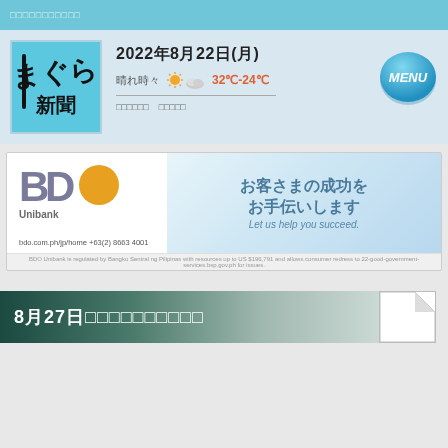□□□□□□□□□□□
[Figure (logo): Japanese newspaper logo with calligraphy text on blue background]
2022年8月22日(月)
晴れ時々曇り 32℃-24℃
□□□□□□ □□□□□
[Figure (illustration): MENU button - blue circular button with MENU text]
[Figure (other): BDO Unibank advertisement banner. Text: お客さまの成功をお手伝いします / Let us help you succeed. / bdo.com.ph/jp/home  +63(2) 8663 4001]
8月27日□□□□□□□□□□